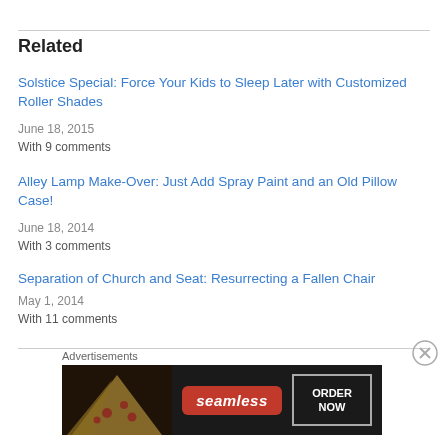Related
Solstice Special: Force Your Kids to Sleep Later with Customized Roller Shades
June 18, 2015
With 9 comments
Alley Lamp Make-Over: Just Add Spray Paint and an Old Pillow Case!
June 18, 2014
With 3 comments
Separation of Church and Seat: Resurrecting a Fallen Chair
May 1, 2014
With 11 comments
Advertisements
[Figure (other): Seamless food delivery advertisement banner with pizza image on left, Seamless logo in center, and ORDER NOW button on right]